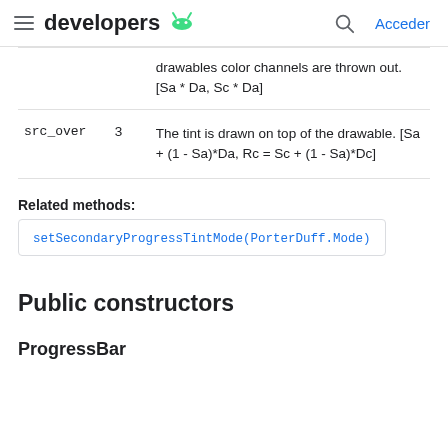developers  [Android logo]  [Search icon]  Acceder
|  |  | drawables color channels are thrown out. [Sa * Da, Sc * Da] |
| src_over | 3 | The tint is drawn on top of the drawable. [Sa + (1 - Sa)*Da, Rc = Sc + (1 - Sa)*Dc] |
Related methods:
setSecondaryProgressTintMode(PorterDuff.Mode)
Public constructors
ProgressBar